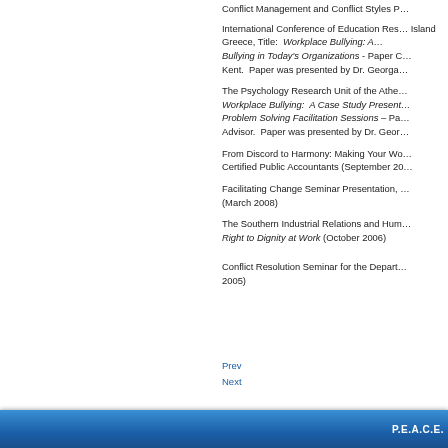Conflict Management and Conflict Styles P…
International Conference of Education Res… Island Greece, Title: Workplace Bullying: A… Bullying in Today's Organizations - Paper C… Kent. Paper was presented by Dr. Georga…
The Psychology Research Unit of the Athe… Workplace Bullying: A Case Study Present… Problem Solving Facilitation Sessions – Pa… Advisor. Paper was presented by Dr. Geor…
From Discord to Harmony: Making Your Wo… Certified Public Accountants (September 20…
Facilitating Change Seminar Presentation, … (March 2008)
The Southern Industrial Relations and Hum… Right to Dignity at Work (October 2006)
Conflict Resolution Seminar for the Depart… 2005)
Prev
Next
P.E.A.C.E.